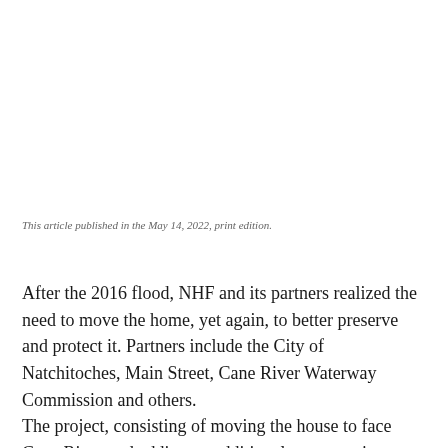This article published in the May 14, 2022, print edition.
After the 2016 flood, NHF and its partners realized the need to move the home, yet again, to better preserve and protect it. Partners include the City of Natchitoches, Main Street, Cane River Waterway Commission and others. The project, consisting of moving the house to face Cane River and adding an additional structure, is expected to be